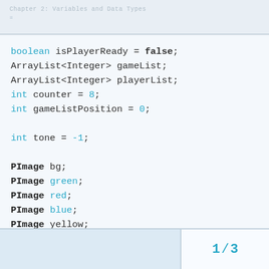Chapter 2: Variables and Data Types
≡
boolean isPlayerReady = false;
ArrayList<Integer> gameList;
ArrayList<Integer> playerList;
int counter = 8;
int gameListPosition = 0;

int tone = -1;

PImage bg;
PImage green;
PImage red;
PImage blue;
PImage yellow;

int startTime;
int timeOut;
1 / 3